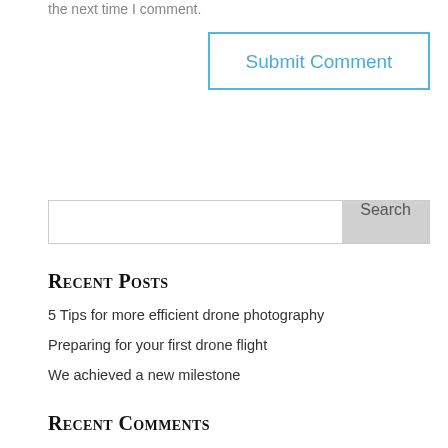the next time I comment.
Submit Comment
Search
Recent Posts
5 Tips for more efficient drone photography
Preparing for your first drone flight
We achieved a new milestone
Recent Comments